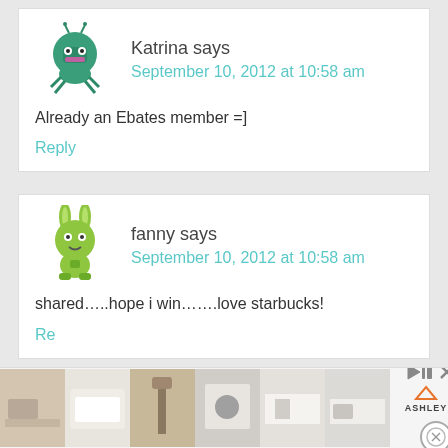[Figure (illustration): Green cartoon monster avatar for user Katrina]
Katrina says
September 10, 2012 at 10:58 am
Already an Ebates member =]
Reply
[Figure (illustration): Green cartoon rabbit-monster avatar for user fanny]
fanny says
September 10, 2012 at 10:58 am
shared…..hope i win…….love starbucks!
[Figure (photo): Advertisement bar at bottom with furniture/interior images and Ashley logo]